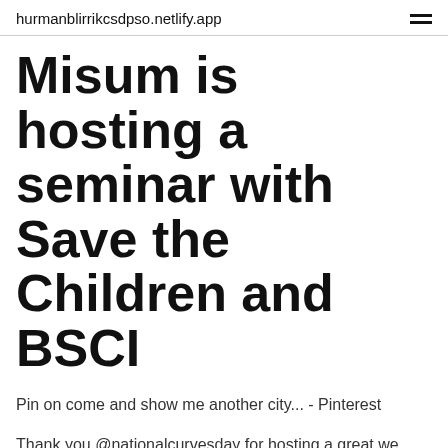hurmanblirrikcsdpso.netlify.app
Misum is hosting a seminar with Save the Children and BSCI
Pin on come and show me another city... - Pinterest
Thank you @nationalcurvesday for hosting a great we have produced a final configuration hosting a